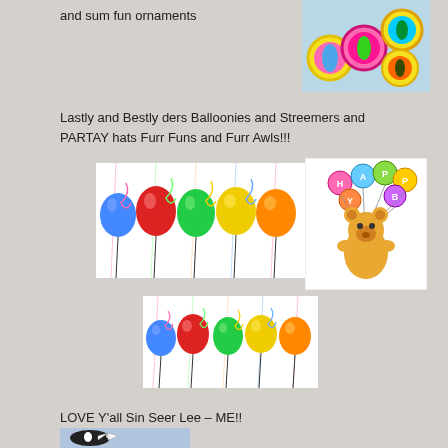and sum fun ornaments
[Figure (photo): Colorful bottle cap ornaments with bird designs on yellow and pink caps]
Lastly and Bestly ders Balloonies and Streemers and PARTAY hats Furr Funs and Furr Awls!!!
[Figure (photo): Colorful balloons with streamers in blue, red, green, yellow, orange colors]
[Figure (photo): Teddy bear holding Happy Birthday balloons illustration]
[Figure (photo): Colorful balloons with streamers repeated image]
LOVE Y'all  Sin Seer Lee – ME!!
[Figure (photo): Black and white cat wearing a polka dot bow tie]